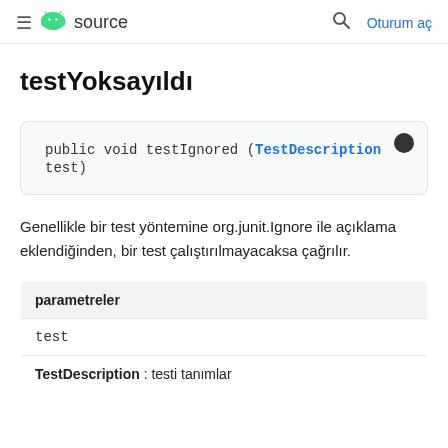≡  source   🔍  Oturum aç
testYoksayıldı
public void testIgnored (TestDescription test)
Genellikle bir test yöntemine org.junit.Ignore ile açıklama eklendiğinden, bir test çalıştırılmayacaksa çağrılır.
| parametreler |
| --- |
| test |  |
| TestDescription : testi tanımlar |  |